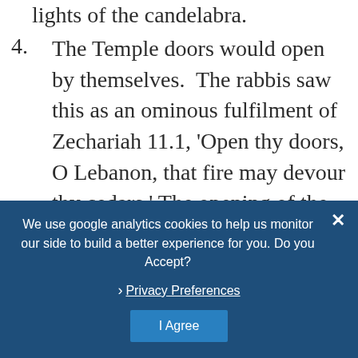lights of the candelabra.
4. The Temple doors would open by themselves.  The rabbis saw this as an ominous fulfilment of Zechariah 11.1, 'Open thy doors, O Lebanon, that fire may devour thy cedars.' The opening of the doors to let in the consuming fire foretold the destruction of the Temple itself by fire. (3)
We use google analytics cookies to help us monitor our side to build a better experience for you. Do you Accept?
› Privacy Preferences
I Agree